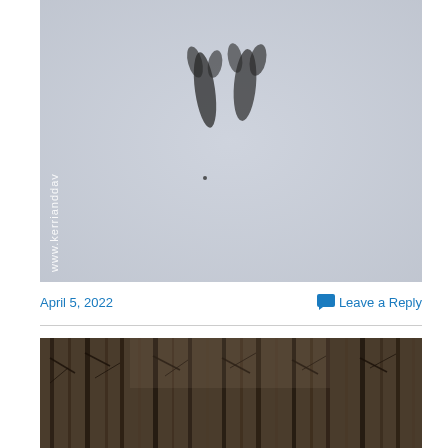[Figure (photo): A close-up photograph of animal tracks (likely deer hoofprints) pressed into snow. The background snow is light gray-blue. Two dark hoof impressions are visible near the top-center. A watermark reading 'www.kerrianddav' is printed vertically along the left side in white text.]
April 5, 2022
Leave a Reply
[Figure (photo): A wide landscape photograph of a dense, leafless forest with bare trees. The image is dark and shows many thin vertical tree trunks with intertwining bare branches against a dim background.]